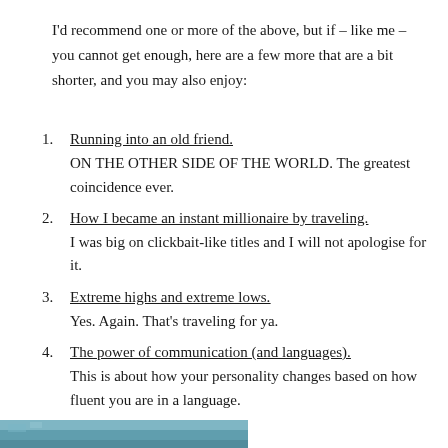I'd recommend one or more of the above, but if – like me – you cannot get enough, here are a few more that are a bit shorter, and you may also enjoy:
Running into an old friend.
ON THE OTHER SIDE OF THE WORLD. The greatest coincidence ever.
How I became an instant millionaire by traveling.
I was big on clickbait-like titles and I will not apologise for it.
Extreme highs and extreme lows.
Yes. Again. That's traveling for ya.
The power of communication (and languages).
This is about how your personality changes based on how fluent you are in a language.
Creating your own normal
A motivational blog about saying 'screw you' to societal norms ;)
[Figure (photo): A partial view of what appears to be a scenic outdoor photo, showing blue sky and landscape, cropped at the bottom of the page.]